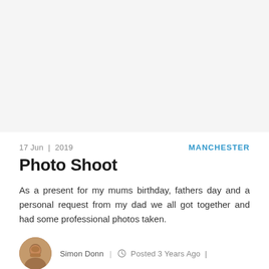[Figure (photo): Blank/white image placeholder area at top of page]
17 Jun | 2019
MANCHESTER
Photo Shoot
As a present for my mums birthday, fathers day and a personal request from my dad we all got together and had some professional photos taken.
[Figure (photo): Small circular avatar photo of Simon Donn]
Simon Donn  |  Posted 3 Years Ago  |